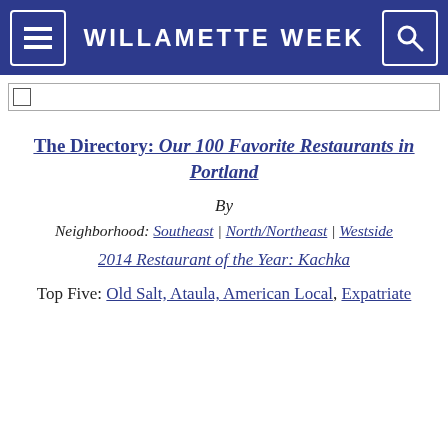WILLAMETTE WEEK
The Directory: Our 100 Favorite Restaurants in Portland
By
Neighborhood: Southeast | North/Northeast | Westside
2014 Restaurant of the Year: Kachka
Top Five: Old Salt, Ataula, American Local, Expatriate